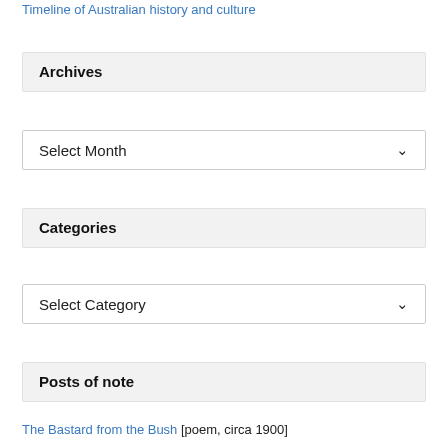Timeline of Australian history and culture
Archives
Select Month
Categories
Select Category
Posts of note
The Bastard from the Bush [poem, circa 1900]